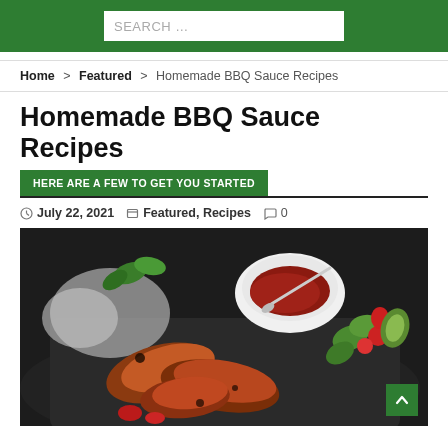SEARCH ...
Home > Featured > Homemade BBQ Sauce Recipes
Homemade BBQ Sauce Recipes
HERE ARE A FEW TO GET YOU STARTED
July 22, 2021  Featured, Recipes  0
[Figure (photo): BBQ chicken pieces on a dark slate board with a white bowl of red BBQ sauce, fresh vegetables including tomatoes, cucumber and avocado slices, and foil-wrapped items in the background.]